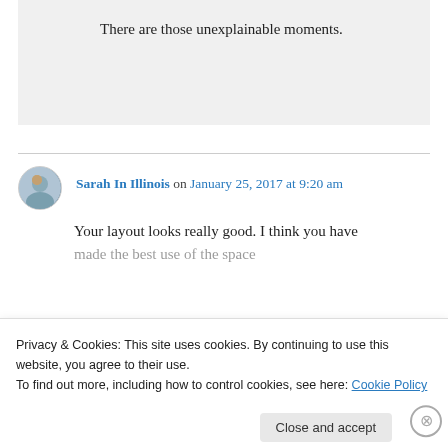There are those unexplainable moments.
Sarah In Illinois on January 25, 2017 at 9:20 am
Your layout looks really good. I think you have made the best use of the space
Privacy & Cookies: This site uses cookies. By continuing to use this website, you agree to their use.
To find out more, including how to control cookies, see here: Cookie Policy
Close and accept